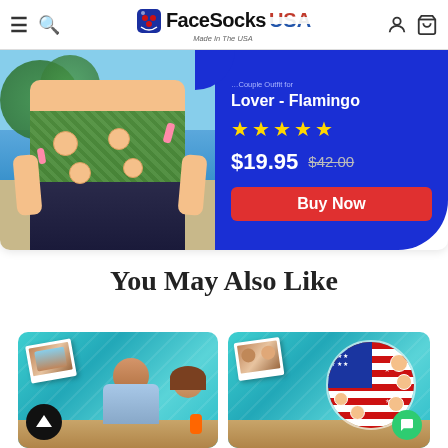FaceSocks USA — Made In The USA
[Figure (screenshot): Product banner showing a man in a Hawaiian shirt with flamingo print on a beach background. Blue promotional panel on the right shows product title 'Lover - Flamingo', star rating, price $19.95 (was $42.00), and a red Buy Now button.]
You May Also Like
[Figure (photo): Product card showing a couple near a pool with teal water background. A photo strip is shown in upper left corner. An up-arrow button is in the lower left.]
[Figure (photo): Product card showing a circular patriotic frisbee/disc with US flag pattern and custom face prints on it. Teal pool water background. A chat bubble button in the lower right.]